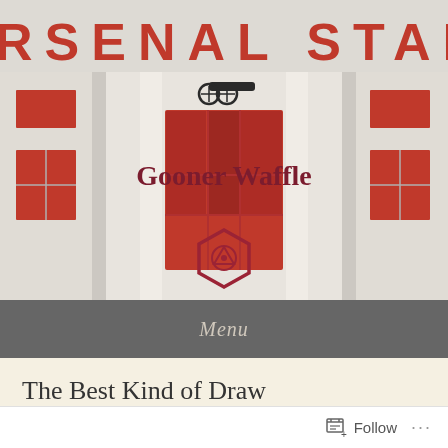[Figure (photo): Photograph of Arsenal Stadium facade showing white building with red lettering 'ARSENAL STADIUM', red windows, and an Arsenal cannon emblem. Overlaid with the Gooner Waffle blog title and a red hexagon logo.]
Gooner Waffle
Menu
The Best Kind of Draw
Posted on January 21, 2020